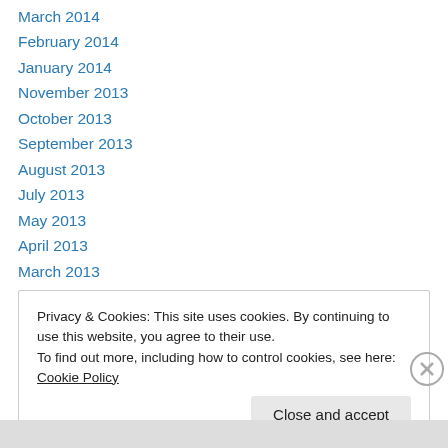March 2014
February 2014
January 2014
November 2013
October 2013
September 2013
August 2013
July 2013
May 2013
April 2013
March 2013
February 2013
January 2013
Privacy & Cookies: This site uses cookies. By continuing to use this website, you agree to their use.
To find out more, including how to control cookies, see here: Cookie Policy
Close and accept